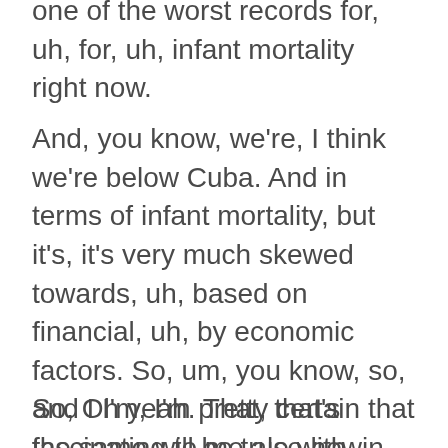one of the worst records for, uh, for, uh, infant mortality right now.
And, you know, we're, I think we're below Cuba. And in terms of infant mortality, but it's, it's very much skewed towards, uh, based on financial, uh, by economic factors. So, um, you know, so, and I I'm, I'm pretty certain that the same will be true with, in terms of longevity, you know, right now, In fact, I would argue that there's a whole bunch of very interesting stories, scifi stories that you could write about, about longevity and how it's going to play out, you know?
So, Oh yeah. That, that's fascinating to me also how, you know, Saifai, um, it's sort of like science